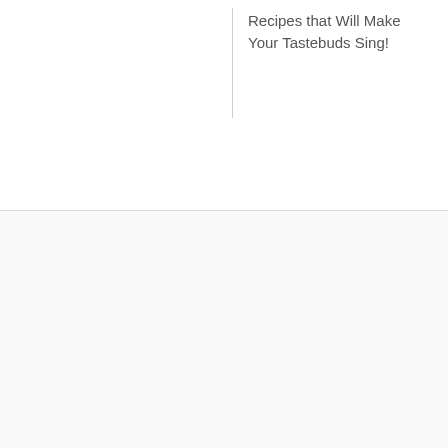Recipes that Will Make Your Tastebuds Sing!
Similar Posts
[Figure (photo): A straw sun hat and sunglasses resting on a light blue surface, viewed from above]